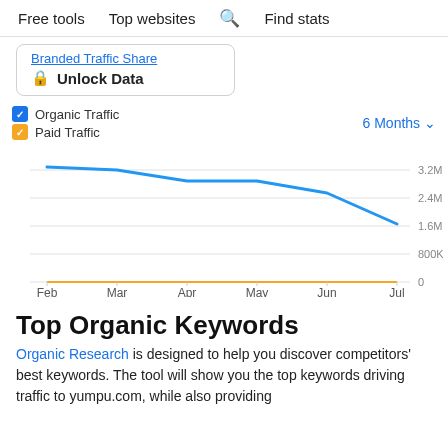Free tools   Top websites   Find stats
Branded Traffic Share
🔒 Unlock Data
Organic Traffic   Paid Traffic   6 Months
[Figure (line-chart): Organic Traffic vs Paid Traffic (6 Months)]
Top Organic Keywords
Organic Research is designed to help you discover competitors' best keywords. The tool will show you the top keywords driving traffic to yumpu.com, while also providing